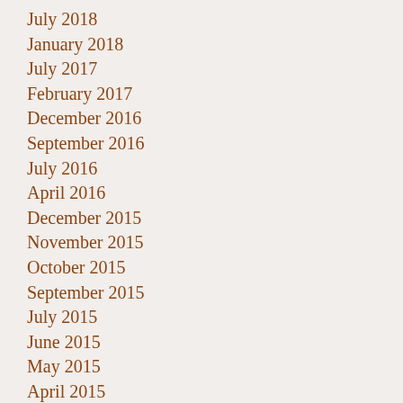July 2018
January 2018
July 2017
February 2017
December 2016
September 2016
July 2016
April 2016
December 2015
November 2015
October 2015
September 2015
July 2015
June 2015
May 2015
April 2015
March 2015
January 2015
December 2014